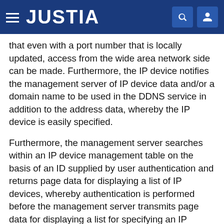JUSTIA
that even with a port number that is locally updated, access from the wide area network side can be made. Furthermore, the IP device notifies the management server of IP device data and/or a domain name to be used in the DDNS service in addition to the address data, whereby the IP device is easily specified.
Furthermore, the management server searches within an IP device management table on the basis of an ID supplied by user authentication and returns page data for displaying a list of IP devices, whereby authentication is performed before the management server transmits page data for displaying a list for specifying an IP device, so that it becomes unnecessary to transmit the IP device list data to unauthorized users, and this reduces the burden on the management server and realizes high security without connection to the IP device itself.